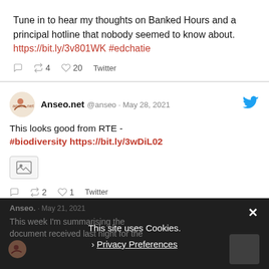Tune in to hear my thoughts on Banked Hours and a principal hotline that nobody seemed to know about. https://bit.ly/3v801WK #edchatie
reply retweet 4 like 20 Twitter
Anseo.net @anseo · May 28, 2021
This looks good from RTE - #biodiversity https://bit.ly/3wDiL02
reply retweet 2 like 1 Twitter
This site uses Cookies.
Privacy Preferences
Anseo. · May 21, 2021 This week I'm summarising the document received last night for the